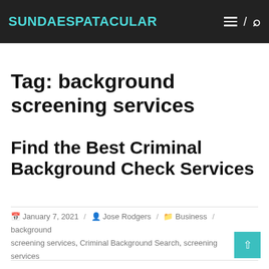SUNDAESPATACULAR
Tag: background screening services
Find the Best Criminal Background Check Services
January 7, 2021 / Jose Rodgers / Business / background screening services, Criminal Background Search, screening services